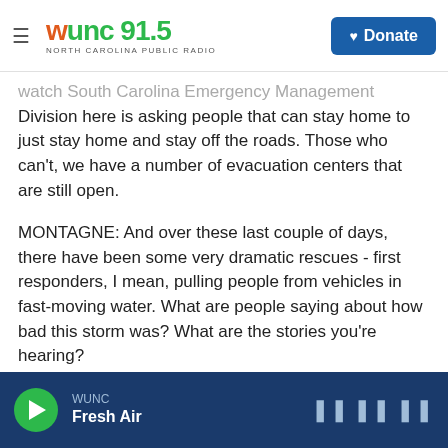WUNC 91.5 NORTH CAROLINA PUBLIC RADIO | Donate
watch South Carolina Emergency Management Division here is asking people that can stay home to just stay home and stay off the roads. Those who can't, we have a number of evacuation centers that are still open.
MONTAGNE: And over these last couple of days, there have been some very dramatic rescues - first responders, I mean, pulling people from vehicles in fast-moving water. What are people saying about how bad this storm was? What are the stories you're hearing?
KEARNS: Well, I don't believe that anyone thought it
WUNC Fresh Air